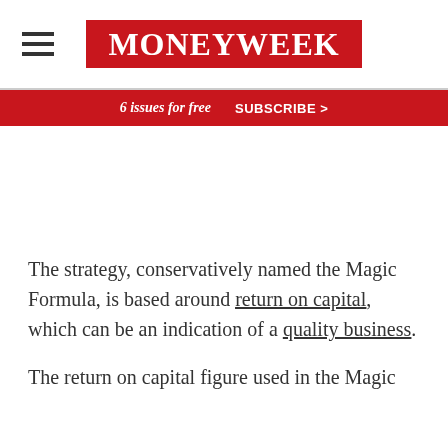MoneyWeek
6 issues for free   SUBSCRIBE >
The strategy, conservatively named the Magic Formula, is based around return on capital, which can be an indication of a quality business.
The return on capital figure used in the Magic